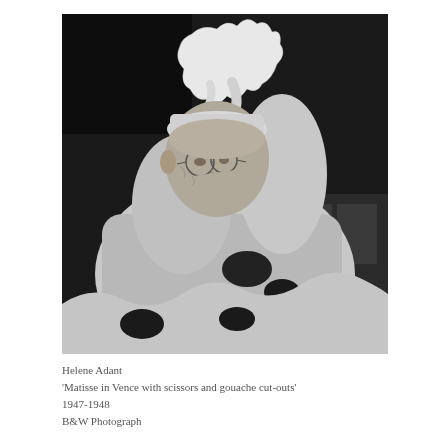[Figure (photo): Black and white photograph of an elderly man (Matisse) holding up white paper cut-out shapes in both hands, examining them closely. He wears glasses and a light-colored sweater. The background is dark.]
Helene Adant
'Matisse in Vence with scissors and gouache cut-outs'
1947-1948
B&W Photograph